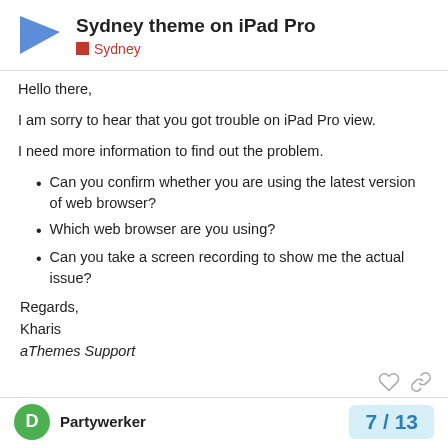Sydney theme on iPad Pro | Sydney
Hello there,
I am sorry to hear that you got trouble on iPad Pro view.
I need more information to find out the problem.
Can you confirm whether you are using the latest version of web browser?
Which web browser are you using?
Can you take a screen recording to show me the actual issue?
Regards,
Kharis
aThemes Support
Partywerker  7 / 13